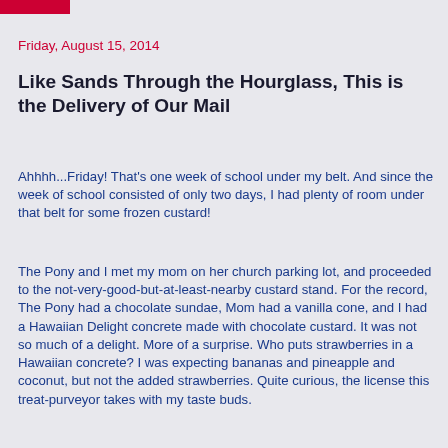Friday, August 15, 2014
Like Sands Through the Hourglass, This is the Delivery of Our Mail
Ahhhh...Friday! That's one week of school under my belt. And since the week of school consisted of only two days, I had plenty of room under that belt for some frozen custard!
The Pony and I met my mom on her church parking lot, and proceeded to the not-very-good-but-at-least-nearby custard stand. For the record, The Pony had a chocolate sundae, Mom had a vanilla cone, and I had a Hawaiian Delight concrete made with chocolate custard. It was not so much of a delight. More of a surprise. Who puts strawberries in a Hawaiian concrete? I was expecting bananas and pineapple and coconut, but not the added strawberries. Quite curious, the license this treat-purveyor takes with my taste buds.